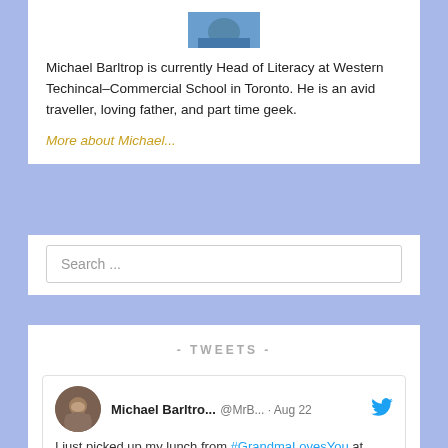[Figure (photo): Partial view of a profile photo at top, circular crop showing a person outdoors]
Michael Barltrop is currently Head of Literacy at Western Techincal-Commercial School in Toronto. He is an avid traveller, loving father, and part time geek.
More about Michael...
Search ...
- TWEETS -
[Figure (screenshot): Tweet card from Michael Barltro... @MrB... Aug 22 — I just picked up my lunch from #GrandmaLovesYou at 1084 Yonge Street,]
Michael Barltro... @MrB... · Aug 22
I just picked up my lunch from #GrandmaLovesYou at 1084 Yonge Street,